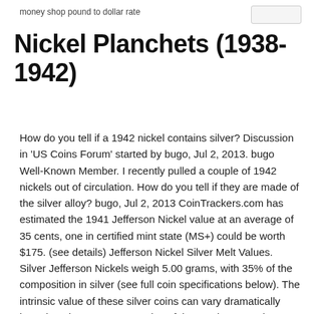money shop pound to dollar rate
Nickel Planchets (1938-1942)
How do you tell if a 1942 nickel contains silver? Discussion in 'US Coins Forum' started by bugo, Jul 2, 2013. bugo Well-Known Member. I recently pulled a couple of 1942 nickels out of circulation. How do you tell if they are made of the silver alloy? bugo, Jul 2, 2013 CoinTrackers.com has estimated the 1941 Jefferson Nickel value at an average of 35 cents, one in certified mint state (MS+) could be worth $175. (see details) Jefferson Nickel Silver Melt Values. Silver Jefferson Nickels weigh 5.00 grams, with 35% of the composition in silver (see full coin specifications below). The intrinsic value of these silver coins can vary dramatically based on the current spot price of the precious metal. For example, silver closed out the year of 2009 at $16.99 an ounce. “War Nickels,” or Jefferson Nickels that were minted from 1942-1945, are also popular among coin collectors due to their historical significance and the fact that